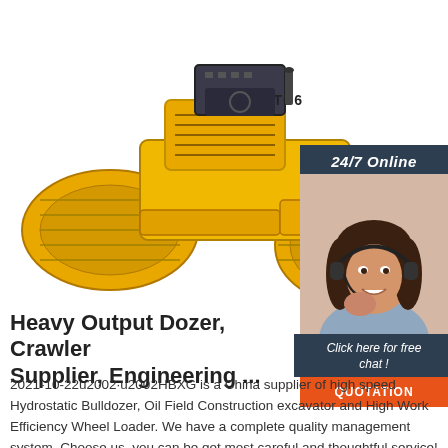[Figure (photo): Yellow road roller / compactor machine labeled LTC6 on a white background]
[Figure (photo): Online chat widget with '24/7 Online' header, a female customer service agent with headset, 'Click here for free chat!' text, and an orange QUOTATION button]
Heavy Output Dozer, Crawler Supplier, Engineering ...
2021-10-22u2002·u2002HBXG is a China supplier of high speed Hydrostatic Bulldozer, Oil Field Construction excavator and High Work Efficiency Wheel Loader. We have a complete quality management system. Choose us, you can be get most careful and thoughtful service!